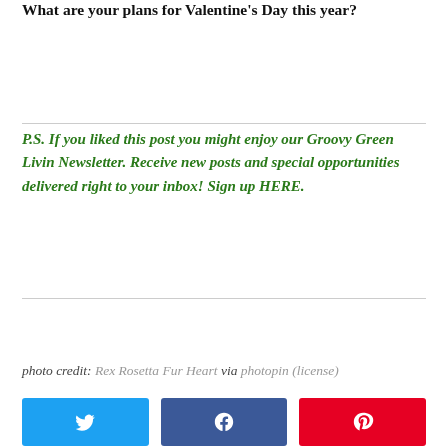What are your plans for Valentine's Day this year?
P.S. If you liked this post you might enjoy our Groovy Green Livin Newsletter. Receive new posts and special opportunities delivered right to your inbox! Sign up HERE.
photo credit: Rex Rosetta Fur Heart via photopin (license)